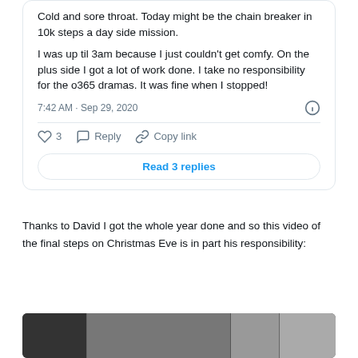Cold and sore throat. Today might be the chain breaker in 10k steps a day side mission.

I was up til 3am because I just couldn't get comfy. On the plus side I got a lot of work done. I take no responsibility for the o365 dramas. It was fine when I stopped!
7:42 AM · Sep 29, 2020
3  Reply  Copy link
Read 3 replies
Thanks to David I got the whole year done and so this video of the final steps on Christmas Eve is in part his responsibility:
[Figure (photo): A photo strip showing multiple people in what appears to be a video thumbnail]